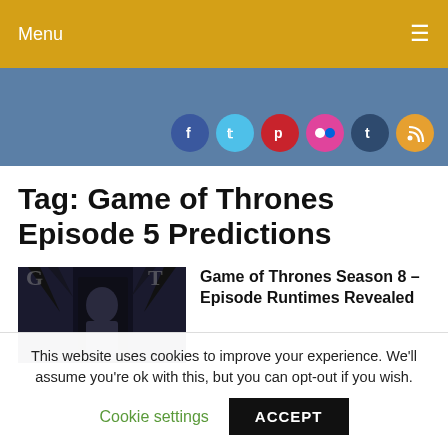Menu ☰
[Figure (other): Blue banner with social media icons: Facebook, Twitter, Pinterest, Flickr, Tumblr, RSS]
Tag: Game of Thrones Episode 5 Predictions
[Figure (photo): Thumbnail image of a Game of Thrones character (Jon Snow) on dark background]
Game of Thrones Season 8 – Episode Runtimes Revealed
This website uses cookies to improve your experience. We'll assume you're ok with this, but you can opt-out if you wish.
Cookie settings   ACCEPT